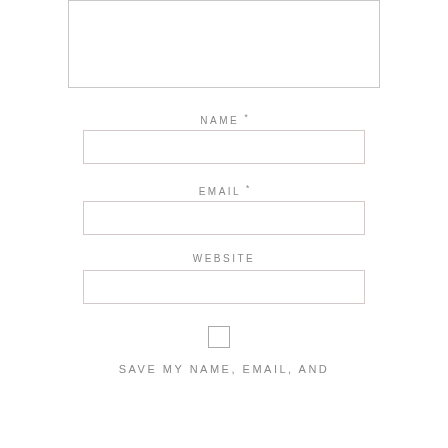[Figure (other): Large text input textarea box at top of page]
NAME *
[Figure (other): Text input field for Name]
EMAIL *
[Figure (other): Text input field for Email]
WEBSITE
[Figure (other): Text input field for Website]
[Figure (other): Checkbox for saving name, email]
SAVE MY NAME, EMAIL, AND